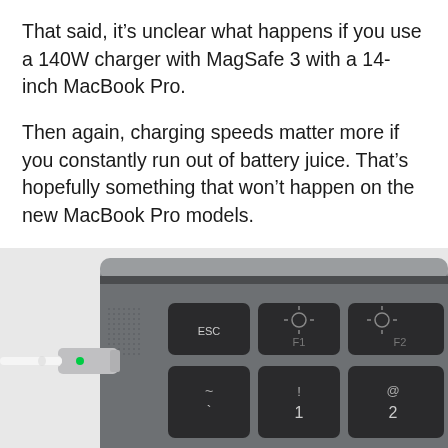That said, it's unclear what happens if you use a 140W charger with MagSafe 3 with a 14-inch MacBook Pro.
Then again, charging speeds matter more if you constantly run out of battery juice. That's hopefully something that won't happen on the new MacBook Pro models.
[Figure (photo): Close-up photo of a MacBook Pro keyboard corner showing the MagSafe 3 charging port with a white cable plugged in and a green LED indicator, alongside black keyboard keys including ESC, F1, F2, tilde/backtick, 1, and 2 keys.]